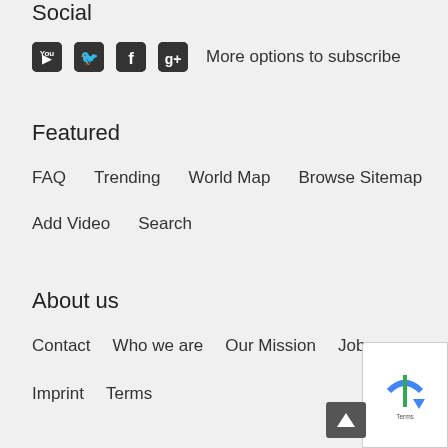Social
More options to subscribe
Featured
FAQ   Trending   World Map   Browse Sitemap
Add Video   Search
About us
Contact   Who we are   Our Mission   Jobs
Imprint   Terms